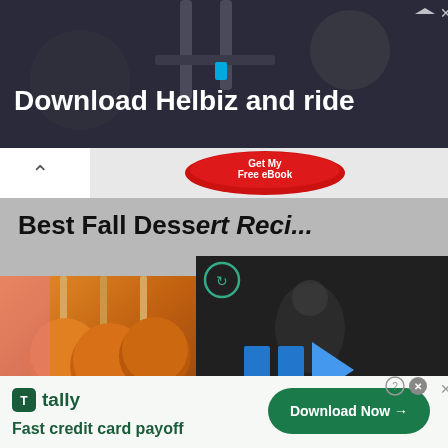[Figure (screenshot): Top banner advertisement for Helbiz scooter app showing 'Download Helbiz and ride' text over dark scooter image with close/skip icons]
[Figure (screenshot): Navigation bar with up caret and red oval 'Get My Free eBook' button]
Best Fall Dess...
[Figure (screenshot): Food blog page showing caramel apples on sticks on left, dark video player overlay in center-right with refresh icon, play controls and mute icon, food image at bottom right]
[Figure (screenshot): Bottom banner advertisement for Tally showing 'Fast credit card payoff' with green Download Now button, close X and help icons]